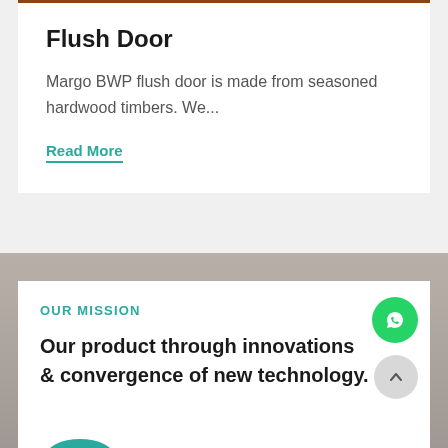Flush Door
Margo BWP flush door is made from seasoned hardwood timbers. We...
Read More
OUR MISSION
Our product through innovations & convergence of new technology.